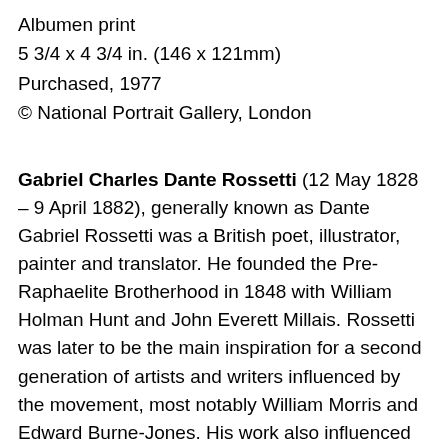Albumen print
5 3/4 x 4 3/4 in. (146 x 121mm)
Purchased, 1977
© National Portrait Gallery, London
Gabriel Charles Dante Rossetti (12 May 1828 – 9 April 1882), generally known as Dante Gabriel Rossetti was a British poet, illustrator, painter and translator. He founded the Pre-Raphaelite Brotherhood in 1848 with William Holman Hunt and John Everett Millais. Rossetti was later to be the main inspiration for a second generation of artists and writers influenced by the movement, most notably William Morris and Edward Burne-Jones. His work also influenced the European Symbolists and was a major